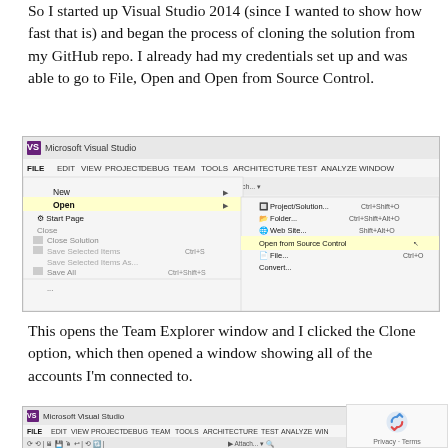So I started up Visual Studio 2014 (since I wanted to show how fast that is) and began the process of cloning the solution from my GitHub repo. I already had my credentials set up and was able to go to File, Open and Open from Source Control.
[Figure (screenshot): Screenshot of Microsoft Visual Studio menu showing File > Open > Open from Source Control highlighted in yellow]
This opens the Team Explorer window and I clicked the Clone option, which then opened a window showing all of the accounts I'm connected to.
[Figure (screenshot): Partial screenshot of Microsoft Visual Studio toolbar at the bottom of the page, partially covered by a reCAPTCHA widget]